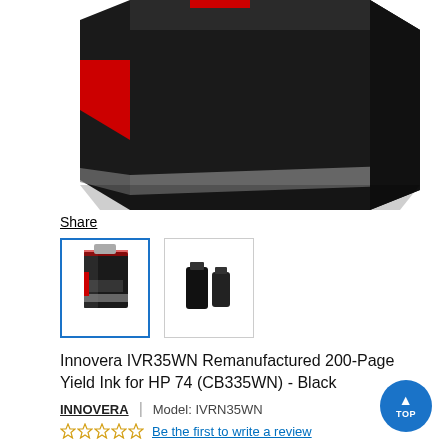[Figure (photo): Close-up of a black product box with red accent stripe and a gray metallic stripe near the bottom, partially cropped.]
Share
[Figure (photo): Thumbnail row: first thumbnail (selected, blue border) shows Innovera ink cartridge product box; second thumbnail shows two ink cartridges out of box.]
Innovera IVR35WN Remanufactured 200-Page Yield Ink for HP 74 (CB335WN) - Black
INNOVERA | Model: IVRN35WN
Be the first to write a review